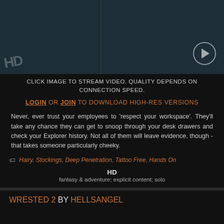[Figure (photo): Split thumbnail image: left side shows a dark office room, right side shows a figure at a desk with computer monitors. HD watermark on left. Play button circle on right.]
CLICK IMAGE TO STREAM VIDEO. QUALITY DEPENDS ON CONNECTION SPEED.
LOGIN OR JOIN TO DOWNLOAD HIGH-RES VERSIONS
Never, ever trust your employees to 'respect your workspace'. They'll take any chance they can get to snoop through your desk drawers and check your Explorer history. Not all of them will leave evidence, though - that takes someone particularly cheeky.
Hairy, Stockings, Deep Penetration, Tattoo Free, Hands On
HD
fantasy & adventure; explicit content; solo
WRESTED 2 BY HELLSANGEL